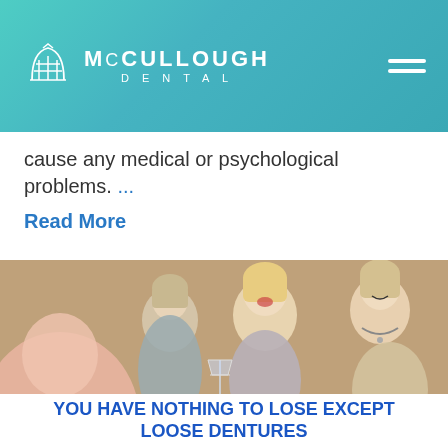[Figure (logo): McCullough Dental logo with teal gradient header background, hamburger menu icon on right]
cause any medical or psychological problems. ...
Read More
[Figure (photo): Three middle-aged women laughing and socializing at a gathering, one holding a champagne glass]
YOU HAVE NOTHING TO LOSE EXCEPT LOOSE DENTURES